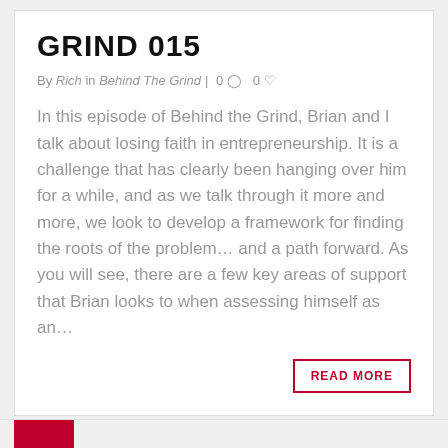GRIND 015
By Rich in Behind The Grind | 0 💬 0 🤍
In this episode of Behind the Grind, Brian and I talk about losing faith in entrepreneurship. It is a challenge that has clearly been hanging over him for a while, and as we talk through it more and more, we look to develop a framework for finding the roots of the problem... and a path forward. As you will see, there are a few key areas of support that Brian looks to when assessing himself as an...
READ MORE